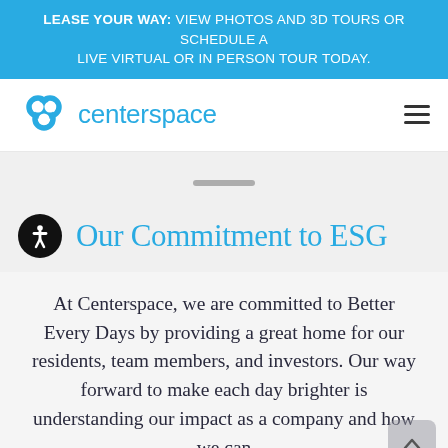LEASE YOUR WAY: VIEW PHOTOS AND 3D TOURS OR SCHEDULE A LIVE VIRTUAL OR IN PERSON TOUR TODAY.
[Figure (logo): Centerspace logo with circular icon and blue text]
Our Commitment to ESG
At Centerspace, we are committed to Better Every Days by providing a great home for our residents, team members, and investors. Our way forward to make each day brighter is understanding our impact as a company and how we can